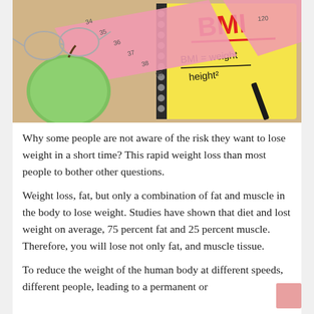[Figure (photo): Photo showing a green apple, pink measuring tape with numbers 34-39 visible, eyeglasses, and a yellow spiral notebook with 'BMI' written in red and 'BMI = weight/height²' written in black marker on a wooden surface.]
Why some people are not aware of the risk they want to lose weight in a short time? This rapid weight loss than most people to bother other questions.
Weight loss, fat, but only a combination of fat and muscle in the body to lose weight. Studies have shown that diet and lost weight on average, 75 percent fat and 25 percent muscle. Therefore, you will lose not only fat, and muscle tissue.
To reduce the weight of the human body at different speeds, different people, leading to a permanent or